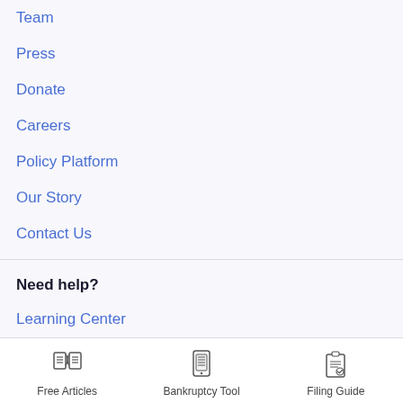Team
Press
Donate
Careers
Policy Platform
Our Story
Contact Us
Need help?
Learning Center
Browse Articles and Pages
[Figure (infographic): Three bottom navigation icons: Free Articles (open book icon), Bankruptcy Tool (smartphone icon), Filing Guide (clipboard with checkmark icon)]